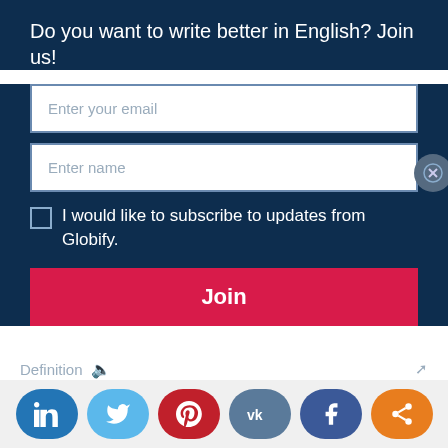Do you want to write better in English? Join us!
Enter your email
Enter name
I would like to subscribe to updates from Globify.
Join
Definition
a general agreement about something
[Figure (other): Social sharing buttons: LinkedIn, Twitter, Pinterest, VK, Facebook, Share]